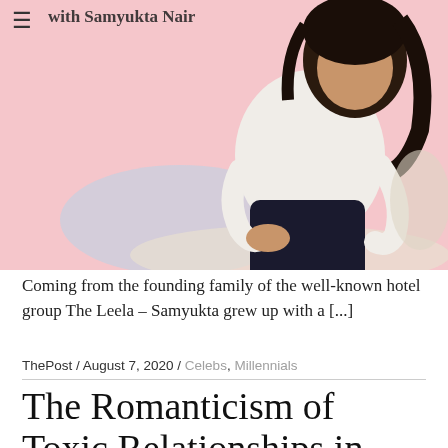[Figure (photo): Woman with dark hair in white long-sleeve top and black pants, seated on a cream-colored sofa, against a pink background with a light blue curved shape. Partial text at top reads 'with Samyukta Nair'.]
Coming from the founding family of the well-known hotel group The Leela – Samyukta grew up with a [...]
ThePost / August 7, 2020 / Celebs, Millennials
The Romanticism of Toxic Relationships in Novels